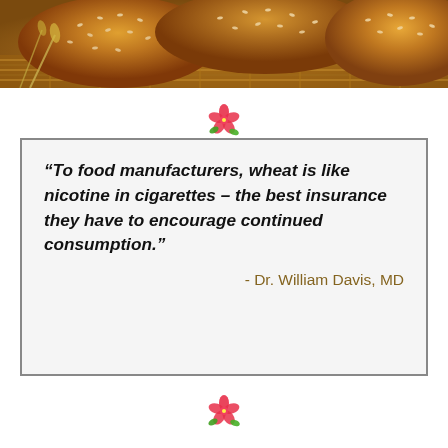[Figure (photo): Photograph of bread rolls with sesame seeds on a woven mat, with wheat stalks]
[Figure (illustration): Small decorative pink hibiscus flower icon]
“To food manufacturers, wheat is like nicotine in cigarettes – the best insurance they have to encourage continued consumption.”
- Dr. William Davis, MD
[Figure (illustration): Small decorative pink hibiscus flower icon]